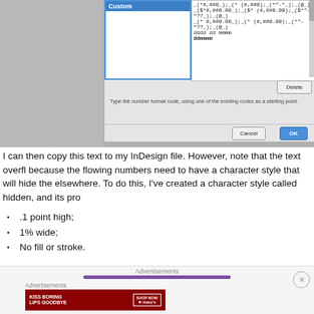[Figure (screenshot): Screenshot of a number format dialog in a spreadsheet application showing a 'Custom' category selected, format codes listed on the right including date and currency formats, a Delete button, helper text about typing number format codes, and Cancel/OK buttons.]
I can then copy this text to my InDesign file. However, note that the text overfl because the flowing numbers need to have a character style that will hide the elsewhere. To do this, I've created a character style called hidden, and its pro
.1 point high;
1% wide;
No fill or stroke.
[Figure (screenshot): Advertisement banner at the bottom of the page showing 'Advertisements' label, a purple progress bar with close button, and a Macy's ad banner reading 'KISS BORING LIPS GOODBYE' with a SHOP NOW button.]